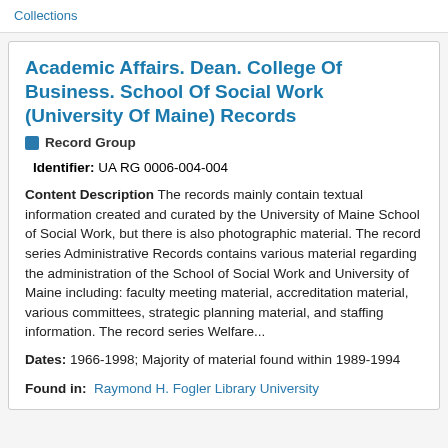Collections
Academic Affairs. Dean. College Of Business. School Of Social Work (University Of Maine) Records
Record Group
Identifier: UA RG 0006-004-004
Content Description The records mainly contain textual information created and curated by the University of Maine School of Social Work, but there is also photographic material. The record series Administrative Records contains various material regarding the administration of the School of Social Work and University of Maine including: faculty meeting material, accreditation material, various committees, strategic planning material, and staffing information. The record series Welfare...
Dates: 1966-1998; Majority of material found within 1989-1994
Found in: Raymond H. Fogler Library University Archives